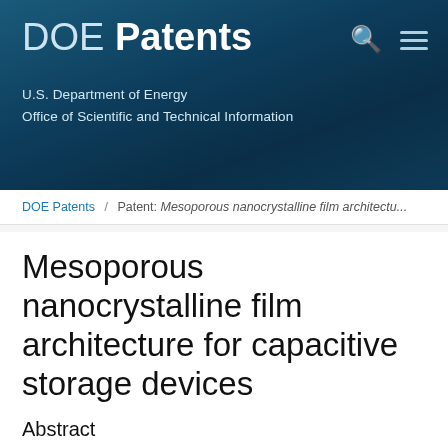DOE Patents
U.S. Department of Energy
Office of Scientific and Technical Information
DOE Patents / Patent: Mesoporous nanocrystalline film architectu...
Mesoporous nanocrystalline film architecture for capacitive storage devices
Abstract
A mesoporous, nanocrystalline, metal oxide construct